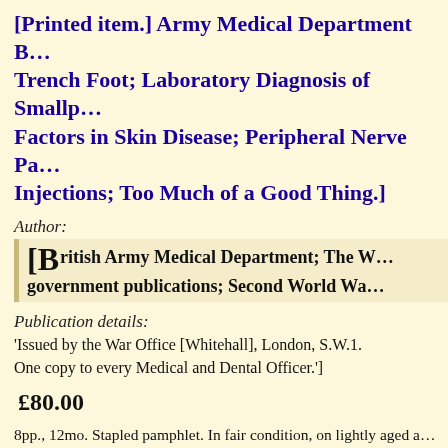[Printed item.] Army Medical Department B… Trench Foot; Laboratory Diagnosis of Smallp… Factors in Skin Disease; Peripheral Nerve Pa… Injections; Too Much of a Good Thing.]
Author:
[British Army Medical Department; The W… government publications; Second World Wa…
Publication details:
'Issued by the War Office [Whitehall], London, S.W.1. One copy to every Medical and Dental Officer.']
£80.00
8pp., 12mo. Stapled pamphlet. In fair condition, on lightly aged a… spine. 'Miss Kayton' in manuscript at head of first page. From a s… Kayton of the Royal Army Medical Corps. These bulletins are sca… (unspecified) in the Wellcome Library, a copy of no.32 in the Imp… University of California.